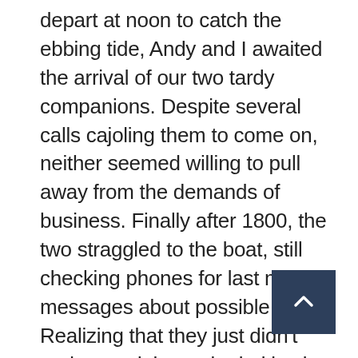depart at noon to catch the ebbing tide, Andy and I awaited the arrival of our two tardy companions. Despite several calls cajoling them to come on, neither seemed willing to pull away from the demands of business. Finally after 1800, the two straggled to the boat, still checking phones for last minute messages about possible sales. Realizing that they just didn't understand the real priorities in life, I nevertheless instructed them to cast off immediately. Clearing the barmouth of River Bann, we set out on a northerly course for Barra, 100 miles away in the Hebrides. Sailing overnight we reached Barra's Castlebay and anchored for a restful evening. With cell coverage from Scotland, workaholics Pascal and Jimmy were happily phoning away the night.